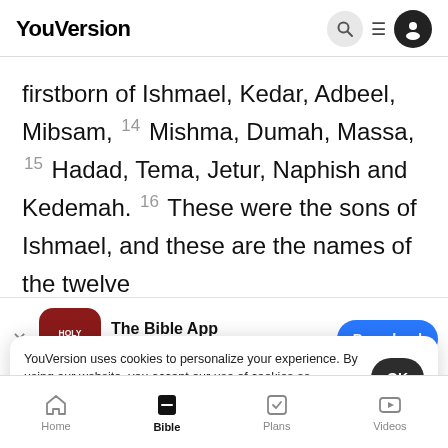YouVersion
firstborn of Ishmael, Kedar, Adbeel, Mibsam, 14 Mishma, Dumah, Massa, 15 Hadad, Tema, Jetur, Naphish and Kedemah. 16 These were the sons of Ishmael, and these are the names of the twelve
[Figure (screenshot): The Bible App download banner with app icon (Holy Bible), 5 stars, 7.9M rating, and Download button]
years. h
gathere
YouVersion uses cookies to personalize your experience. By using our website, you accept our use of cookies as described in our Privacy Policy.
Home | Bible | Plans | Videos